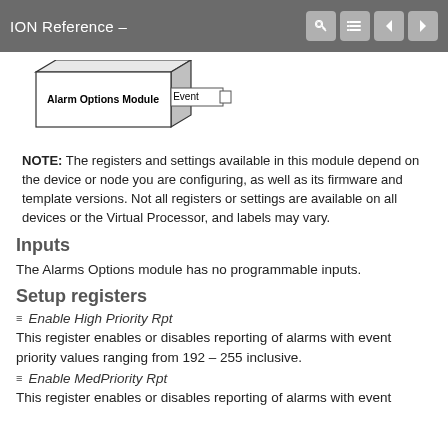ION Reference –
[Figure (schematic): Block diagram showing 'Alarm Options Module' box connected to an 'Event' output port on the right]
NOTE: The registers and settings available in this module depend on the device or node you are configuring, as well as its firmware and template versions. Not all registers or settings are available on all devices or the Virtual Processor, and labels may vary.
Inputs
The Alarms Options module has no programmable inputs.
Setup registers
Enable High Priority Rpt
This register enables or disables reporting of alarms with event priority values ranging from 192 – 255 inclusive.
Enable MedPriority Rpt
This register enables or disables reporting of alarms with event